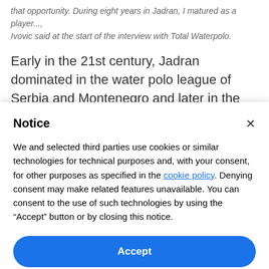that opportunity. During eight years in Jadran, I matured as a player..., Ivovic said at the start of the interview with Total Waterpolo.
Early in the 21st century, Jadran dominated in the water polo league of Serbia and Montenegro and later in the Montenegrin Championship and national
Notice
We and selected third parties use cookies or similar technologies for technical purposes and, with your consent, for other purposes as specified in the cookie policy. Denying consent may make related features unavailable. You can consent to the use of such technologies by using the “Accept” button or by closing this notice.
Accept
Learn more and customize